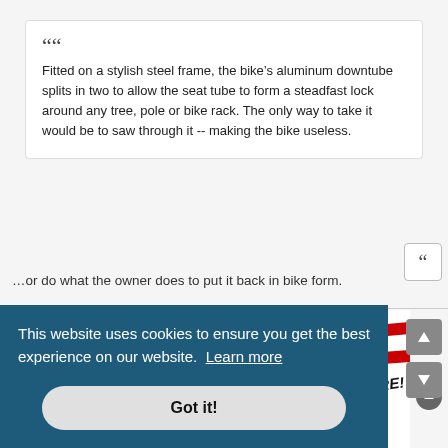““ Fitted on a stylish steel frame, the bike’s aluminum downtube splits in two to allow the seat tube to form a steadfast lock around any tree, pole or bike rack. The only way to take it would be to saw through it -- making the bike useless.
…or do what the owner does to put it back in bike form.
[Figure (logo): Stylized American flag logo with red stripes and blue star field, with text 'NUKE / METEOR '96 THE ONLY WAY TO BE SURE!' in bold handwritten style. A vertical black bar appears to the right.]
This website uses cookies to ensure you get the best experience on our website. Learn more
Got it!